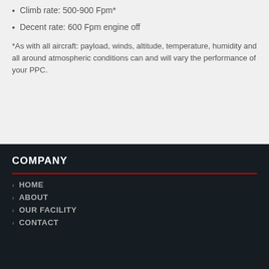Climb rate: 500-900 Fpm*
Decent rate: 600 Fpm engine off
*As with all aircraft: payload, winds, altitude, temperature, humidity and all around atmospheric conditions can and will vary the performance of your PPC.
COMPANY
HOME
ABOUT
OUR FACILITY
CONTACT